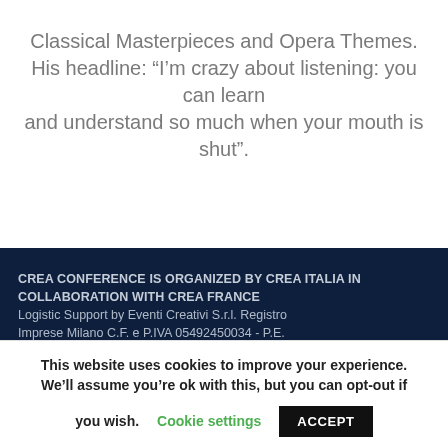Classical Masterpieces and Opera Themes. His headline: “I’m crazy about listening: you can learn and understand so much when your mouth is shut”.
CREA CONFERENCE IS ORGANIZED BY CREA ITALIA IN COLLABORATION WITH CREA FRANCE
Logistic Support by Eventi Creativi S.r.l. Registro Imprese Milano C.F. e P.IVA 05492450034 - P.E...
This website uses cookies to improve your experience. We’ll assume you’re ok with this, but you can opt-out if you wish. Cookie settings ACCEPT